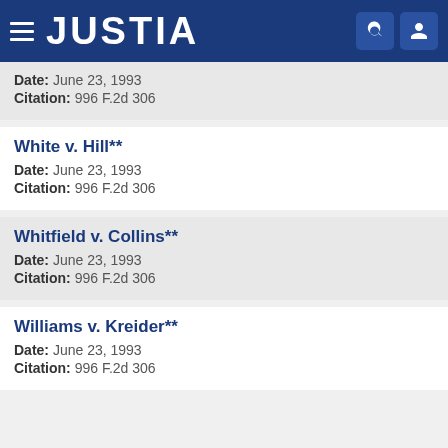JUSTIA
Date: June 23, 1993
Citation: 996 F.2d 306
White v. Hill**
Date: June 23, 1993
Citation: 996 F.2d 306
Whitfield v. Collins**
Date: June 23, 1993
Citation: 996 F.2d 306
Williams v. Kreider**
Date: June 23, 1993
Citation: 996 F.2d 306